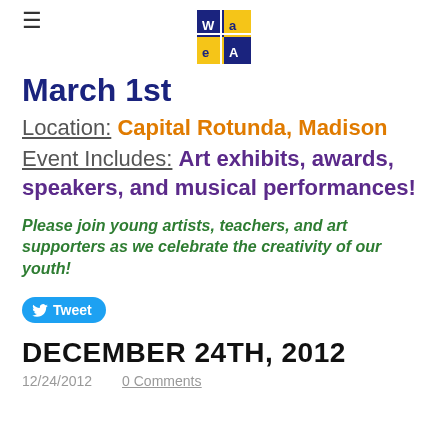[Figure (logo): WAEA logo - square logo with blue/yellow grid showing letters W, a, e, A]
March 1st
Location: Capital Rotunda, Madison
Event Includes: Art exhibits, awards, speakers, and musical performances!
Please join young artists, teachers, and art supporters as we celebrate the creativity of our youth!
[Figure (other): Tweet button]
DECEMBER 24TH, 2012
12/24/2012    0 Comments